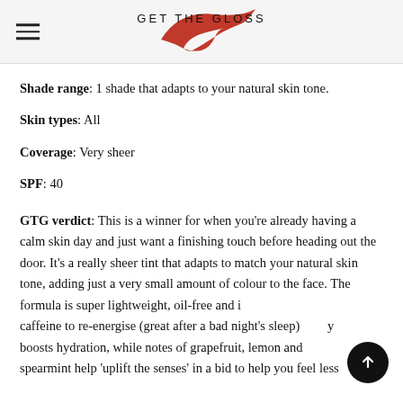GET THE GLOSS
Shade range: 1 shade that adapts to your natural skin tone.
Skin types: All
Coverage: Very sheer
SPF: 40
GTG verdict: This is a winner for when you're already having a calm skin day and just want a finishing touch before heading out the door. It's a really sheer tint that adapts to match your natural skin tone, adding just a very small amount of colour to the face. The formula is super lightweight, oil-free and includes caffeine to re-energise (great after a bad night's sleep) and also boosts hydration, while notes of grapefruit, lemon and spearmint help 'uplift the senses' in a bid to help you feel less